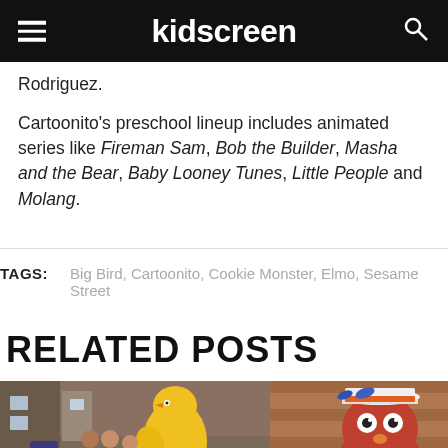kidscreen
Rodriguez.
Cartoonito's preschool lineup includes animated series like Fireman Sam, Bob the Builder, Masha and the Bear, Baby Looney Tunes, Little People and Molang.
TAGS: Big Bird, Cartoonito, Cookie Monster, Elmo, Sesame Street
RELATED POSTS
[Figure (photo): Left photo showing Big Bird and human cast members on Sesame Street set; right photo showing an Elmo-like puppet character with hat.]